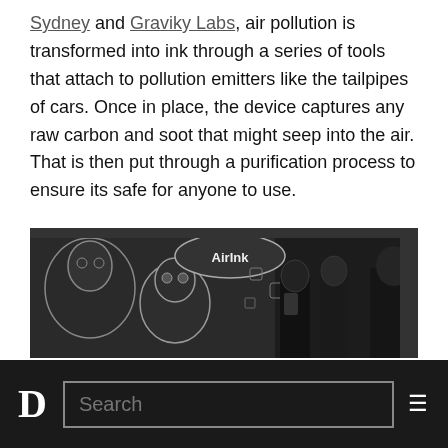Sydney and Graviky Labs, air pollution is transformed into ink through a series of tools that attach to pollution emitters like the tailpipes of cars. Once in place, the device captures any raw carbon and soot that might seep into the air. That is then put through a purification process to ensure its safe for anyone to use.
[Figure (photo): Grayscale photo of people viewing a large mural/street art installation. The mural shows cartoon-like characters and a speech bubble reading 'AirInk'. Several people are seen from behind looking at the wall art in what appears to be an indoor venue.]
D  Search  ≡